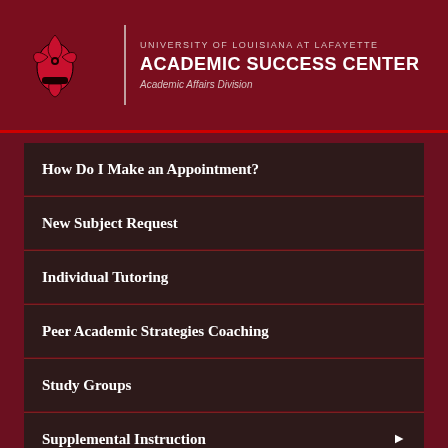UNIVERSITY OF LOUISIANA AT LAFAYETTE — ACADEMIC SUCCESS CENTER — Academic Affairs Division
How Do I Make an Appointment?
New Subject Request
Individual Tutoring
Peer Academic Strategies Coaching
Study Groups
Supplemental Instruction
Online Students